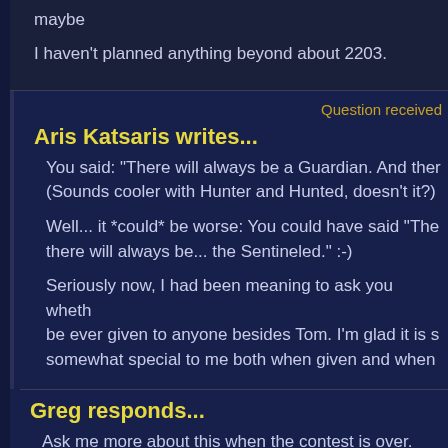maybe
I haven't planned anything beyond about 2203.
Question received
Aris Katsaris writes...
You said: "There will always be a Guardian. And ther... (Sounds cooler with Hunter and Hunted, doesn't it?)
Well... it *could* be worse: You could have said "The... there will always be... the Sentineled." :-)
Seriously now, I had been meaning to ask you wheth... be ever given to anyone besides Tom. I'm glad it is s... somewhat special to me both when given and when
Greg responds...
Ask me more about this when the contest is over.